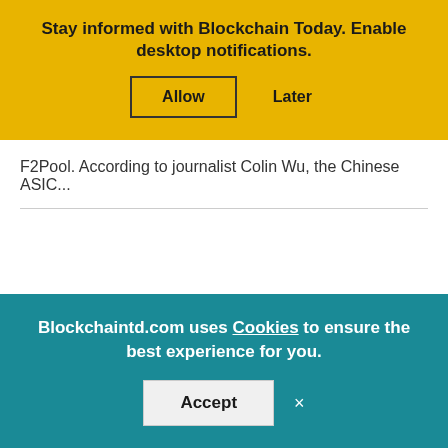Stay informed with Blockchain Today. Enable desktop notifications.
Allow   Later
F2Pool. According to journalist Colin Wu, the Chinese ASIC...
Blockchaintd.com uses Cookies to ensure the best experience for you.
Accept  ×